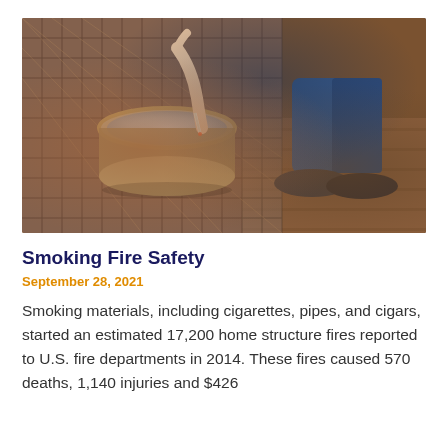[Figure (photo): Overhead view of a person stubbing out a cigarette in a round metal ashtray filled with ash, sitting on a decorative metal mesh surface, with the person's legs in jeans and dark loafers visible on a wooden floor in the background.]
Smoking Fire Safety
September 28, 2021
Smoking materials, including cigarettes, pipes, and cigars, started an estimated 17,200 home structure fires reported to U.S. fire departments in 2014. These fires caused 570 deaths, 1,140 injuries and $426